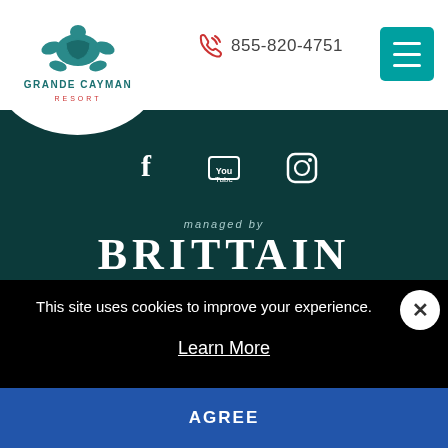[Figure (logo): Grande Cayman Resort logo — turtle icon with GRANDE CAYMAN RESORT text in a white circle]
855-820-4751
[Figure (illustration): Teal hamburger menu button icon in top right]
[Figure (illustration): Social media icons: Facebook, YouTube, Instagram]
[Figure (logo): managed by BRITTAIN RESORTS & HOTELS logo in white on dark teal background]
Home
Accommodations
Amenities
This site uses cookies to improve your experience.
Learn More
AGREE